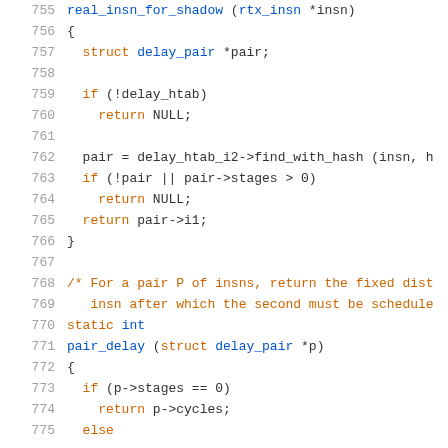755  real_insn_for_shadow (rtx_insn *insn)
756  {
757    struct delay_pair *pair;
758
759    if (!delay_htab)
760      return NULL;
761
762    pair = delay_htab_i2->find_with_hash (insn, h
763    if (!pair || pair->stages > 0)
764      return NULL;
765    return pair->i1;
766  }
767
768  /* For a pair P of insns, return the fixed dist
769    insn after which the second must be schedule
770  static int
771  pair_delay (struct delay_pair *p)
772  {
773    if (p->stages == 0)
774      return p->cycles;
775    else